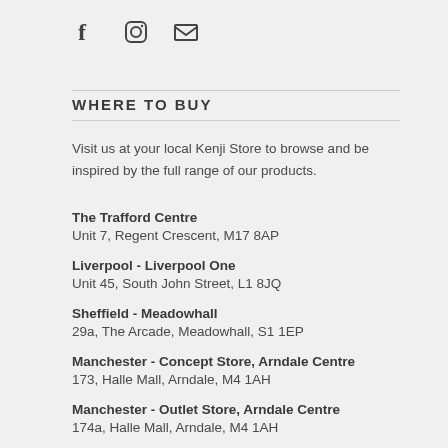[Figure (other): Social media icons: Facebook (f), Instagram (circle with square), and email (envelope)]
WHERE TO BUY
Visit us at your local Kenji Store to browse and be inspired by the full range of our products.
The Trafford Centre
Unit 7, Regent Crescent, M17 8AP
Liverpool - Liverpool One
Unit 45, South John Street, L1 8JQ
Sheffield - Meadowhall
29a, The Arcade, Meadowhall, S1 1EP
Manchester - Concept Store, Arndale Centre
173, Halle Mall, Arndale, M4 1AH
Manchester - Outlet Store, Arndale Centre
174a, Halle Mall, Arndale, M4 1AH